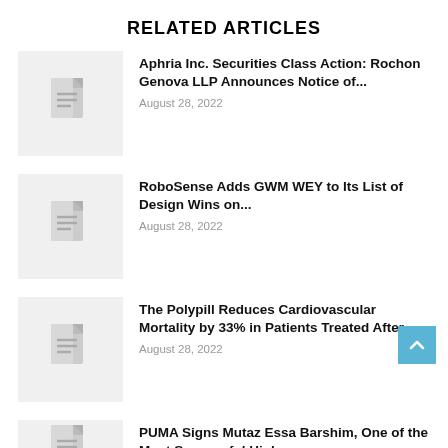RELATED ARTICLES
Aphria Inc. Securities Class Action: Rochon Genova LLP Announces Notice of...
August 28, 2022
RoboSense Adds GWM WEY to Its List of Design Wins on...
August 28, 2022
The Polypill Reduces Cardiovascular Mortality by 33% in Patients Treated After...
August 28, 2022
PUMA Signs Mutaz Essa Barshim, One of the Most Successful High...